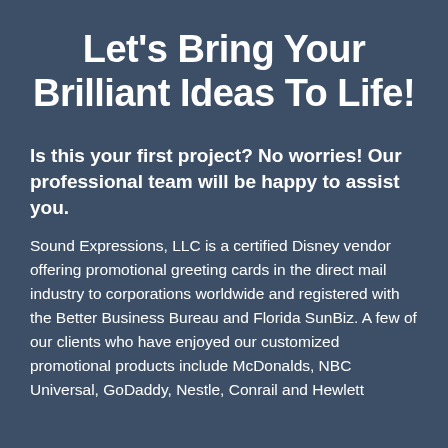Let's Bring Your Brilliant Ideas To Life!
Is this your first project? No worries! Our professional team will be happy to assist you.
Sound Expressions, LLC is a certified Disney vendor offering promotional greeting cards in the direct mail industry to corporations worldwide and registered with the Better Business Bureau and Florida SunBiz. A few of our clients who have enjoyed our customized promotional products include McDonalds, NBC Universal, GoDaddy, Nestle, Conrail and Hewlett